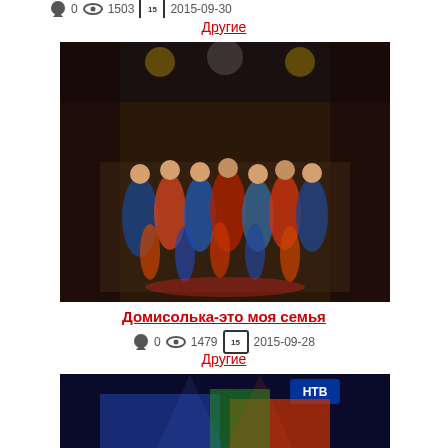0  1503  15  2015-09-30
Другие
[Figure (photo): Stage performance photo showing performers in colorful costumes on a theater stage]
Домисолька-это моя семья
0  1479  15  2015-09-28
Другие
[Figure (photo): Concert stage performance photo with large group of performers in red costumes, colorful backdrop]
Гимн "Песня года" (Песня остается с человеком)
0  1694  15  2015-09-29
Другие
[Figure (photo): Dimly lit event stage scene with decorative items visible]